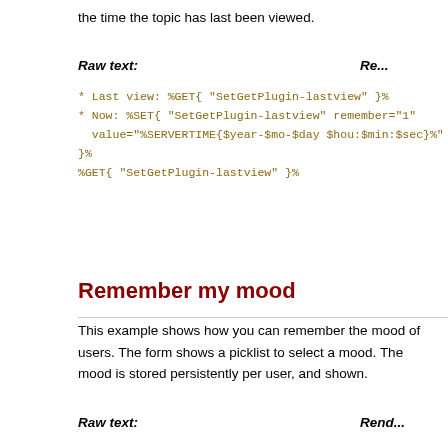the time the topic has last been viewed.
Raw text:
* Last view: %GET{ "SetGetPlugin-lastview" }%
* Now: %SET{ "SetGetPlugin-lastview" remember="1"
  value="%SERVERTIME{$year-$mo-$day $hou:$min:$sec}%"
}%
%GET{ "SetGetPlugin-lastview" }%
Remember my mood
This example shows how you can remember the mood of users. The form shows a picklist to select a mood. The mood is stored persistently per user, and shown.
Raw text: